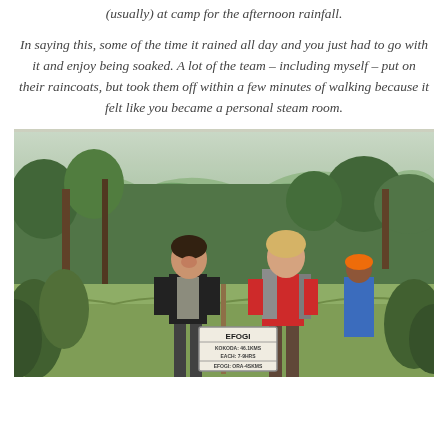(usually) at camp for the afternoon rainfall.
In saying this, some of the time it rained all day and you just had to go with it and enjoy being soaked. A lot of the team – including myself – put on their raincoats, but took them off within a few minutes of walking because it felt like you became a personal steam room.
[Figure (photo): Two women smiling outdoors on a hiking trail surrounded by trees and lush green vegetation. The woman on the left wears a dark top with a hiking vest and holds a sign. The woman on the right wears a red t-shirt with a backpack. A man in a blue shirt and orange hat is visible in the background. A trail sign reading 'EFOGI' with distances is visible in the foreground.]